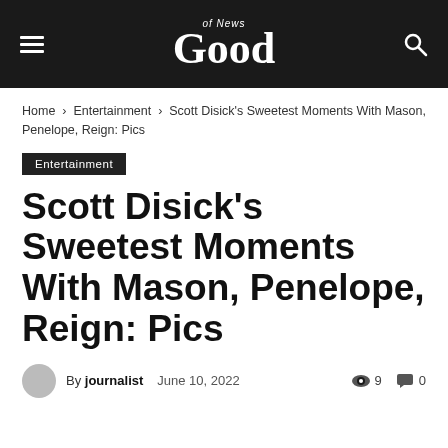Good of News
Home › Entertainment › Scott Disick's Sweetest Moments With Mason, Penelope, Reign: Pics
Entertainment
Scott Disick's Sweetest Moments With Mason, Penelope, Reign: Pics
By journalist   June 10, 2022   9   0